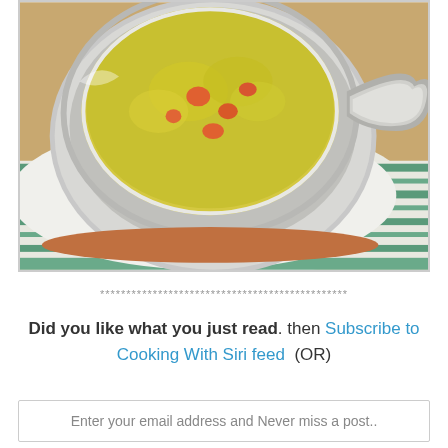[Figure (photo): A silver/stainless steel pan filled with yellow turmeric rice with orange pieces (likely tomatoes or carrots), placed on a white and green striped cloth on a wooden surface.]
***********************************************
Did you like what you just read. then Subscribe to Cooking With Siri feed  (OR)
Enter your email address and Never miss a post..